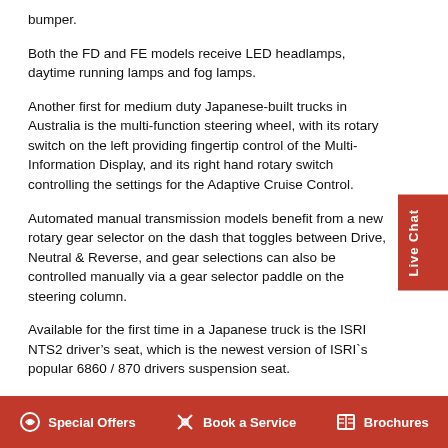bumper.
Both the FD and FE models receive LED headlamps, daytime running lamps and fog lamps.
Another first for medium duty Japanese-built trucks in Australia is the multi-function steering wheel, with its rotary switch on the left providing fingertip control of the Multi-Information Display, and its right hand rotary switch controlling the settings for the Adaptive Cruise Control.
Automated manual transmission models benefit from a new rotary gear selector on the dash that toggles between Drive, Neutral & Reverse, and gear selections can also be controlled manually via a gear selector paddle on the steering column.
Available for the first time in a Japanese truck is the ISRI NTS2 driver’s seat, which is the newest version of ISRI`s popular 6860 / 870 drivers suspension seat.
“The ISRI 6860 has been the benchmark seat in terms of driver
Special Offers   Book a Service   Brochures